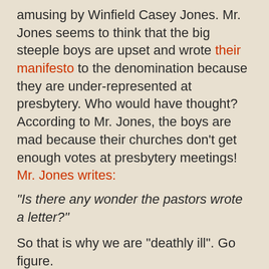amusing by Winfield Casey Jones. Mr. Jones seems to think that the big steeple boys are upset and wrote their manifesto to the denomination because they are under-represented at presbytery. Who would have thought? According to Mr. Jones, the boys are mad because their churches don't get enough votes at presbytery meetings! Mr. Jones writes:
"Is there any wonder the pastors wrote a letter?"
So that is why we are "deathly ill". Go figure.
Dear Editor,
Is Winfield Casey Jones serious? The reason